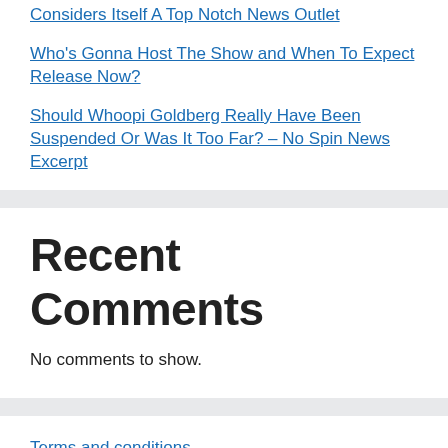Considers Itself A Top Notch News Outlet
Who's Gonna Host The Show and When To Expect Release Now?
Should Whoopi Goldberg Really Have Been Suspended Or Was It Too Far? – No Spin News Excerpt
Recent Comments
No comments to show.
Terms and conditions
Privacy policy